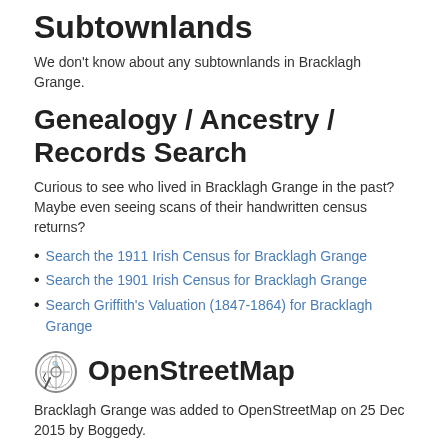Subtownlands
We don't know about any subtownlands in Bracklagh Grange.
Genealogy / Ancestry / Records Search
Curious to see who lived in Bracklagh Grange in the past? Maybe even seeing scans of their handwritten census returns?
Search the 1911 Irish Census for Bracklagh Grange
Search the 1901 Irish Census for Bracklagh Grange
Search Griffith's Valuation (1847-1864) for Bracklagh Grange
OpenStreetMap
Bracklagh Grange was added to OpenStreetMap on 25 Dec 2015 by Boggedy.
View
[Figure (other): Two buttons: 'View on OpenStreetMap.org' and 'Show Changes']
Edit